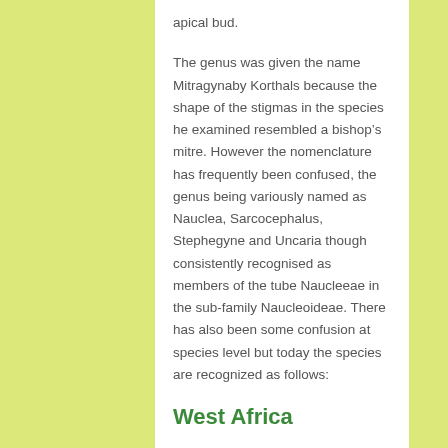apical bud.
The genus was given the name Mitragynaby Korthals because the shape of the stigmas in the species he examined resembled a bishop’s mitre. However the nomenclature has frequently been confused, the genus being variously named as Nauclea, Sarcocephalus, Stephegyne and Uncaria though consistently recognised as members of the tube Naucleeae in the sub-family Naucleoideae. There has also been some confusion at species level but today the species are recognized as follows:
West Africa